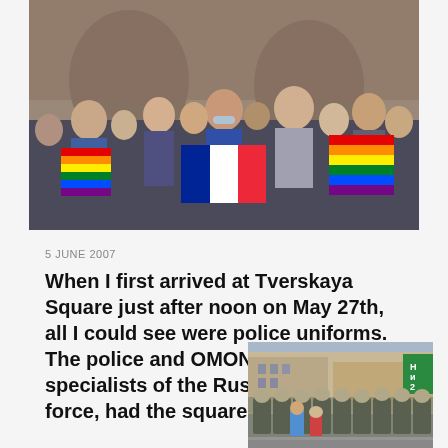[Figure (photo): Crowd of people at a protest holding rainbow pride flags and a French tricolor flag in front of a brick arch building]
5 JUNE 2007
When I first arrived at Tverskaya Square just after noon on May 27th, all I could see were police uniforms. The police and OMON, the riot specialists of the Russian police force, had the square, the
[Figure (photo): Row of riot police officers in camouflage uniforms standing in a city street with buildings and signs in the background]